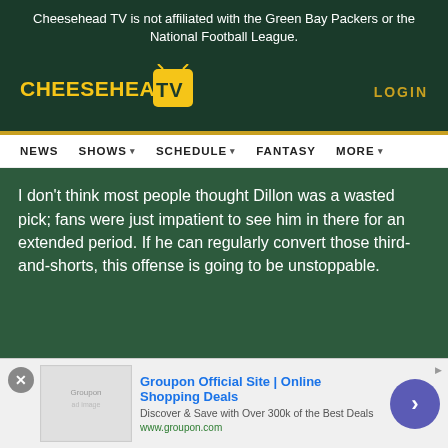Cheesehead TV is not affiliated with the Green Bay Packers or the National Football League.
[Figure (logo): Cheesehead TV logo with yellow text and TV icon]
LOGIN
NEWS   SHOWS ▾   SCHEDULE ▾   FANTASY   MORE ▾
I don't think most people thought Dillon was a wasted pick; fans were just impatient to see him in there for an extended period. If he can regularly convert those third-and-shorts, this offense is going to be unstoppable.
15 points
[Figure (infographic): Groupon advertisement banner with logo, title, description and arrow button]